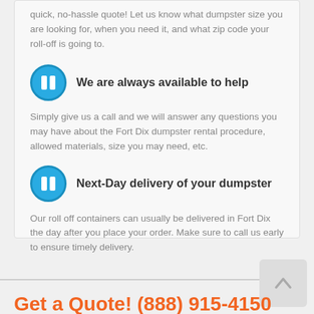quick, no-hassle quote! Let us know what dumpster size you are looking for, when you need it, and what zip code your roll-off is going to.
We are always available to help
Simply give us a call and we will answer any questions you may have about the Fort Dix dumpster rental procedure, allowed materials, size you may need, etc.
Next-Day delivery of your dumpster
Our roll off containers can usually be delivered in Fort Dix the day after you place your order. Make sure to call us early to ensure timely delivery.
Get a Quote! (888) 915-4150